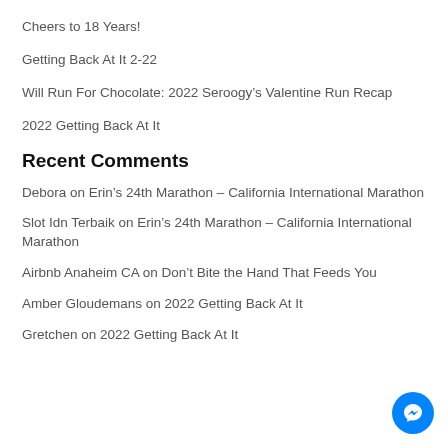Cheers to 18 Years!
Getting Back At It 2-22
Will Run For Chocolate: 2022 Seroogy’s Valentine Run Recap
2022 Getting Back At It
Recent Comments
Debora on Erin’s 24th Marathon – California International Marathon
Slot Idn Terbaik on Erin’s 24th Marathon – California International Marathon
Airbnb Anaheim CA on Don’t Bite the Hand That Feeds You
Amber Gloudemans on 2022 Getting Back At It
Gretchen on 2022 Getting Back At It